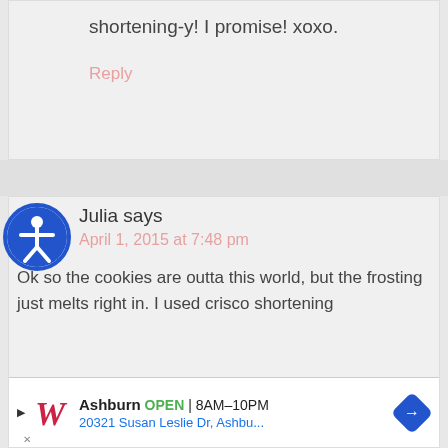shortening-y! I promise! xoxo.
Reply
Julia says
April 1, 2015 at 7:48 pm
Ok so the cookies are outta this world, but the frosting just melts right in. I used crisco shortening
[Figure (infographic): Walgreens advertisement banner: Ashburn OPEN 8AM-10PM, 20321 Susan Leslie Dr, Ashbu...]